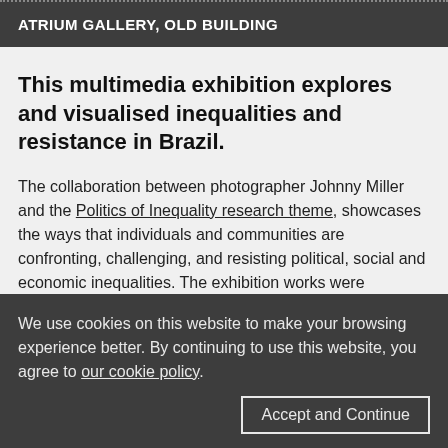ATRIUM GALLERY, OLD BUILDING
This multimedia exhibition explores and visualised inequalities and resistance in Brazil.
The collaboration between photographer Johnny Miller and the Politics of Inequality research theme, showcases the ways that individuals and communities are confronting, challenging, and resisting political, social and economic inequalities. The exhibition works were captured in eight
We use cookies on this website to make your browsing experience better. By continuing to use this website, you agree to our cookie policy.
Accept and Continue